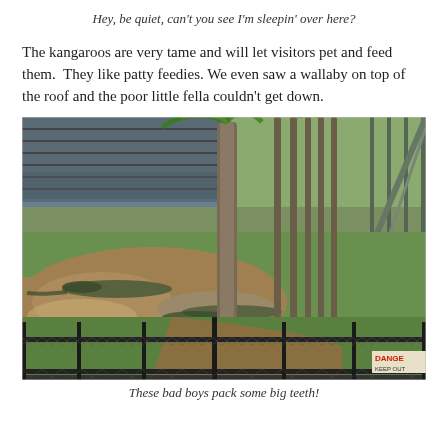Hey, be quiet, can't you see I'm sleepin' over here?
The kangaroos are very tame and will let visitors pet and feed them.  They like patty feedies. We even saw a wallaby on top of the roof and the poor little fella couldn't get down.
[Figure (photo): Outdoor crocodile enclosure at a wildlife park. A large muddy pond with crocodiles resting near the water's edge, surrounded by tall palm trees and green grass. A chain-link fence is in the foreground, and grandstand-style seating and fencing is visible in the background. A 'DANGER' sign is partially visible in the lower right corner.]
These bad boys pack some big teeth!